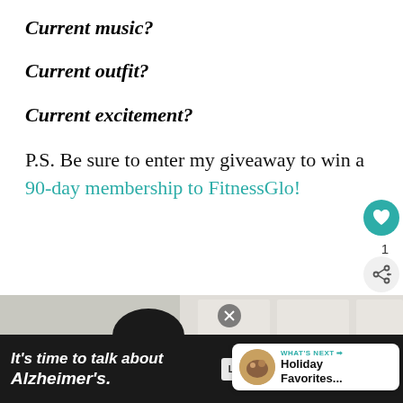Current music?
Current outfit?
Current excitement?
P.S. Be sure to enter my giveaway to win a 90-day membership to FitnessGlo!
[Figure (photo): Woman smiling in a kitchen, wearing a yellow/orange top, with dark hair]
WHAT'S NEXT → Holiday Favorites...
[Figure (advertisement): Ad banner: It's time to talk about Alzheimer's. LEARN MORE. Alzheimer's Association logo.]